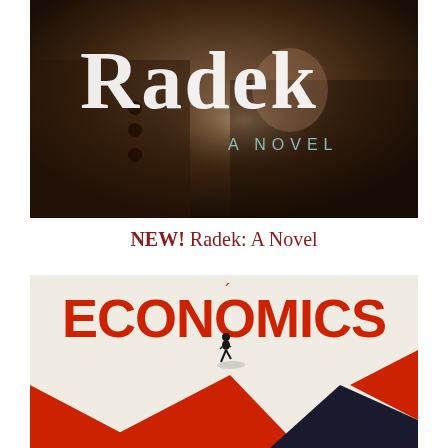[Figure (illustration): Book cover of 'Radek: A Novel' — dark sepia-toned photographic cover showing a figure in coat, with large serif white text 'Radek' at top and 'A NOVEL' in teal/grey smaller caps below]
NEW! Radek: A Novel
[Figure (illustration): Book cover of 'Economics' — cream/off-white background with bold red large text 'ECONOMICS' at top, geometric red, dark navy and black chevron/zigzag shapes at bottom, and a small silhouette of a lone figure walking in the middle of the composition]